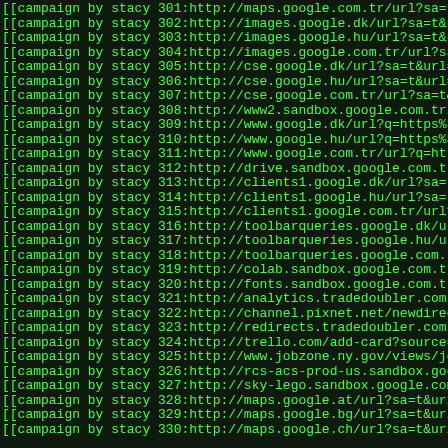[[campaign by stacy 301:http://maps.google.com.tr/url?sa=t&...
[[campaign by stacy 302:http://images.google.dk/url?sa=t&ur
[[campaign by stacy 303:http://images.google.hu/url?sa=t&ur
[[campaign by stacy 304:http://images.google.com.tr/url?sa=
[[campaign by stacy 305:http://cse.google.dk/url?sa=t&url=h
[[campaign by stacy 306:http://cse.google.hu/url?sa=t&url=h
[[campaign by stacy 307:http://cse.google.com.tr/url?sa=t&u
[[campaign by stacy 308:http://www2.sandbox.google.com.tr/u
[[campaign by stacy 309:http://www.google.dk/url?q=https%3A
[[campaign by stacy 310:http://www.google.hu/url?q=https%3A
[[campaign by stacy 311:http://www.google.com.tr/url?q=http
[[campaign by stacy 312:http://drive.sandbox.google.com.tr/
[[campaign by stacy 313:http://clients1.google.dk/url?sa=t&
[[campaign by stacy 314:http://clients1.google.hu/url?sa=t&
[[campaign by stacy 315:http://clients1.google.com.tr/url?s
[[campaign by stacy 316:http://toolbarqueries.google.dk/url
[[campaign by stacy 317:http://toolbarqueries.google.hu/url
[[campaign by stacy 318:http://toolbarqueries.google.com.tr
[[campaign by stacy 319:http://colab.sandbox.google.com.tr/
[[campaign by stacy 320:http://fonts.sandbox.google.com.tr/
[[campaign by stacy 321:http://analytics.tradedoubler.com/r
[[campaign by stacy 322:http://channel.pixnet.net/newdirect
[[campaign by stacy 323:http://redirects.tradedoubler.com/u
[[campaign by stacy 324:http://trello.com/add-card?source=m
[[campaign by stacy 325:http://www.jobzone.ny.gov/views/job
[[campaign by stacy 326:http://rcs-acs-prod-us.sandbox.goog
[[campaign by stacy 327:http://sky-lego.sandbox.google.com.
[[campaign by stacy 328:http://maps.google.at/url?sa=t&url=
[[campaign by stacy 329:http://maps.google.bg/url?sa=t&url=
[[campaign by stacy 330:http://maps.google.ch/url?sa=t&url=